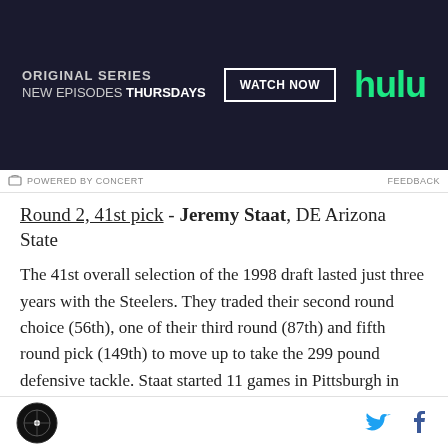[Figure (screenshot): Hulu advertisement banner: dark background with text 'ORIGINAL SERIES NEW EPISODES THURSDAYS', a 'WATCH NOW' button, and the Hulu logo in green]
POWERED BY CONCERT   FEEDBACK
Round 2, 41st pick - Jeremy Staat, DE Arizona State
The 41st overall selection of the 1998 draft lasted just three years with the Steelers. They traded their second round choice (56th), one of their third round (87th) and fifth round pick (149th) to move up to take the 299 pound defensive tackle. Staat started 11 games in Pittsburgh in 1999 and recorded 20 tackles. He would be in Pittsburgh from 1998 to 2000 and played a handful of games for the Rams in 2003 but his real
Site logo | Twitter icon | Facebook icon